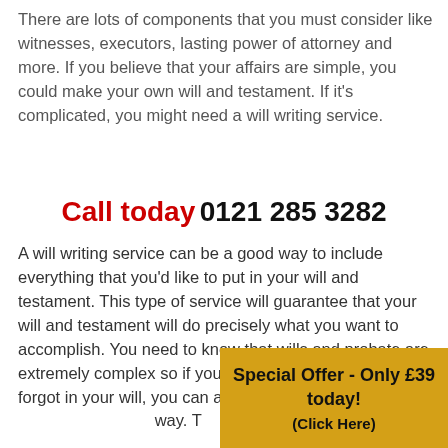There are lots of components that you must consider like witnesses, executors, lasting power of attorney and more. If you believe that your affairs are simple, you could make your own will and testament. If it's complicated, you might need a will writing service.
Call today 0121 285 3282
A will writing service can be a good way to include everything that you'd like to put in your will and testament. This type of service will guarantee that your will and testament will do precisely what you want to accomplish. You need to know that wills and probate are extremely complex so if you have some things that you forgot in your will, you can anticipate that it's writing way. T
Special Offer - Only £39 today! (Click Here)